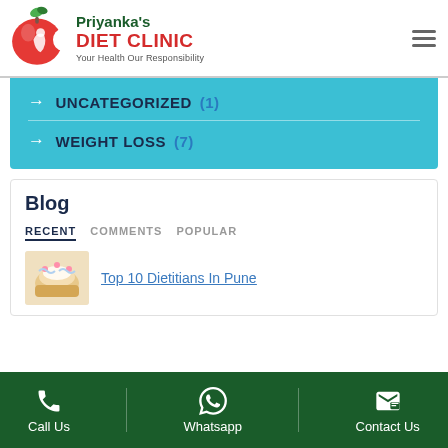[Figure (logo): Priyanka's Diet Clinic logo with red apple and figure, green leaf text]
→ UNCATEGORIZED (1)
→ WEIGHT LOSS (7)
Blog
RECENT   COMMENTS   POPULAR
Top 10 Dietitians In Pune
Call Us   Whatsapp   Contact Us